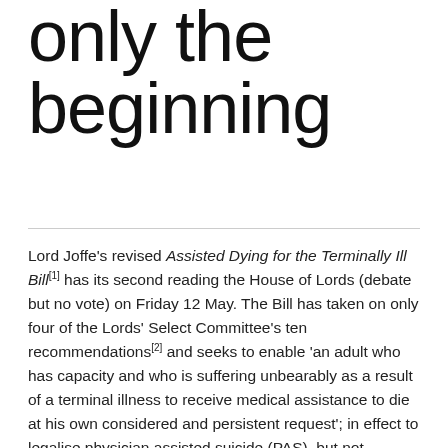only the beginning
Lord Joffe's revised Assisted Dying for the Terminally Ill Bill[1] has its second reading the House of Lords (debate but no vote) on Friday 12 May. The Bill has taken on only four of the Lords' Select Committee's ten recommendations[2] and seeks to enable 'an adult who has capacity and who is suffering unbearably as a result of a terminal illness to receive medical assistance to die at his own considered and persistent request'; in effect to legalise physician assisted suicide (PAS), but not euthanasia, along the lines of the Oregon Death with Dignity Act.[3]
Advocates of the bill have been quick to point out the so-called 'safeguards' within it. It's only assisted suicide, only for